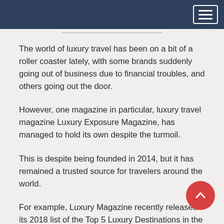The world of luxury travel has been on a bit of a roller coaster lately, with some brands suddenly going out of business due to financial troubles, and others going out the door.
However, one magazine in particular, luxury travel magazine Luxury Exposure Magazine, has managed to hold its own despite the turmoil.
This is despite being founded in 2014, but it has remained a trusted source for travelers around the world.
For example, Luxury Magazine recently released its 2018 list of the Top 5 Luxury Destinations in the World, which ranked them among the top 50...